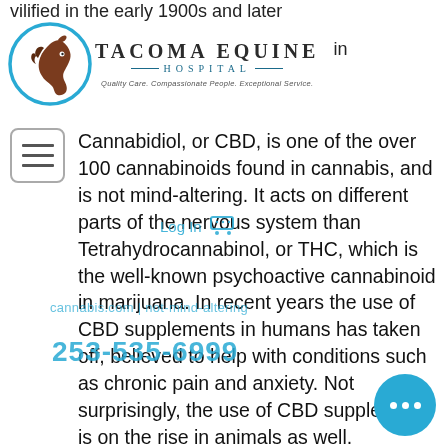vilified in the early 1900s and later
[Figure (logo): Tacoma Equine Hospital logo with horse head in blue circle, text 'TACOMA EQUINE HOSPITAL - Quality Care. Compassionate People. Exceptional Service.']
Cannabidiol, or CBD, is one of the over 100 cannabinoids found in cannabis, and is not mind-altering. It acts on different parts of the nervous system than Tetrahydrocannabinol, or THC, which is the well-known psychoactive cannabinoid in marijuana. In recent years the use of CBD supplements in humans has taken off, believed to help with conditions such as chronic pain and anxiety. Not surprisingly, the use of CBD supplements is on the rise in animals as well.